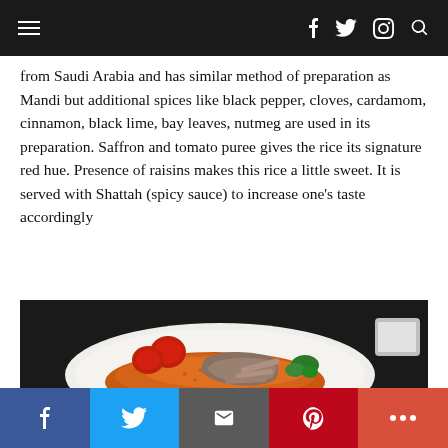Navigation bar with hamburger menu and social icons (f, twitter, instagram, search)
from Saudi Arabia and has similar method of preparation as Mandi but additional spices like black pepper, cloves, cardamom, cinnamon, black lime, bay leaves, nutmeg are used in its preparation. Saffron and tomato puree gives the rice its signature red hue. Presence of raisins makes this rice a little sweet. It is served with Shattah (spicy sauce) to increase one's taste accordingly
[Figure (photo): A white plate containing orange/red rice topped with cooked meat (lamb chops), garnished with sliced tomatoes and green vegetables (broccoli/cucumber), photographed on a dark background.]
Social share buttons: Facebook, Twitter, Email, Pinterest, More